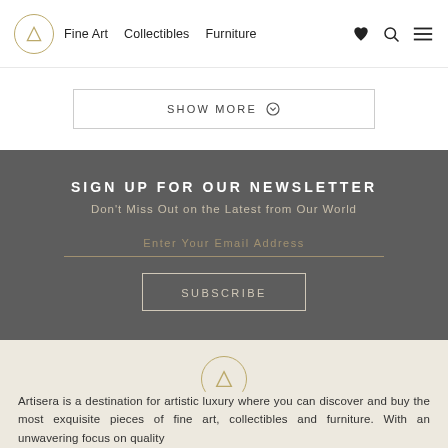Fine Art  Collectibles  Furniture
SHOW MORE
SIGN UP FOR OUR NEWSLETTER
Don't Miss Out on the Latest from Our World
Enter Your Email Address
SUBSCRIBE
[Figure (logo): Artisera logo - circle with letter A]
Artisera is a destination for artistic luxury where you can discover and buy the most exquisite pieces of fine art, collectibles and furniture. With an unwavering focus on quality